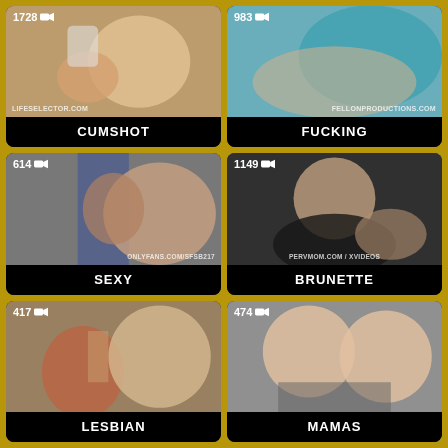[Figure (screenshot): Video thumbnail grid with 6 items: CUMSHOT (1728 views), FUCKING (983 views), SEXY (614 views), BRUNETTE (1149 views), LESBIAN (417 views), MAMAS (474 views)]